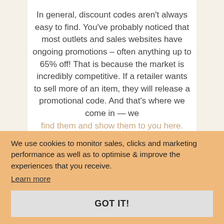In general, discount codes aren't always easy to find. You've probably noticed that most outlets and sales websites have ongoing promotions – often anything up to 65% off! That is because the market is incredibly competitive. If a retailer wants to sell more of an item, they will release a promotional code. And that's where we come in — we find them and show them to you here.
We use cookies to monitor sales, clicks and marketing performance as well as to optimise & improve the experiences that you receive.
Learn more
GOT IT!